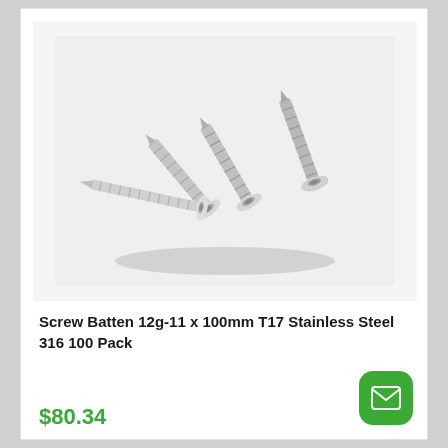[Figure (photo): Photo of stainless steel batten screws — four screws fanned out with heads at the bottom and points facing upper area, silver metallic finish, on a white/grey background]
Screw Batten 12g-11 x 100mm T17 Stainless Steel 316 100 Pack
$80.34